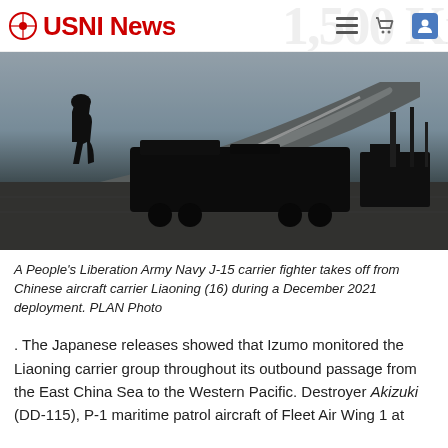USNI News
[Figure (photo): Silhouette of a soldier and military vehicle on the deck of a carrier, with a ski-jump ramp visible in the background under overcast skies.]
A People's Liberation Army Navy J-15 carrier fighter takes off from Chinese aircraft carrier Liaoning (16) during a December 2021 deployment. PLAN Photo
. The Japanese releases showed that Izumo monitored the Liaoning carrier group throughout its outbound passage from the East China Sea to the Western Pacific. Destroyer Akizuki (DD-115), P-1 maritime patrol aircraft of Fleet Air Wing 1 at